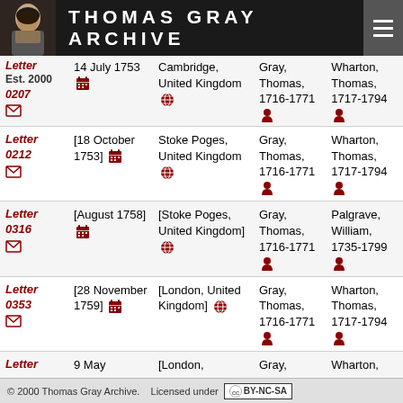THOMAS GRAY ARCHIVE
| Letter | Date | Place | From | To |
| --- | --- | --- | --- | --- |
| Letter 0207 | 14 July 1753 | Cambridge, United Kingdom | Gray, Thomas, 1716-1771 | Wharton, Thomas, 1717-1794 |
| Letter 0212 | [18 October 1753] | Stoke Poges, United Kingdom | Gray, Thomas, 1716-1771 | Wharton, Thomas, 1717-1794 |
| Letter 0316 | [August 1758] | [Stoke Poges, United Kingdom] | Gray, Thomas, 1716-1771 | Palgrave, William, 1735-1799 |
| Letter 0353 | [28 November 1759] | [London, United Kingdom] | Gray, Thomas, 1716-1771 | Wharton, Thomas, 1717-1794 |
| Letter ... | 9 May | [London, | Gray, | Wharton, |
© 2000 Thomas Gray Archive. Licensed under CC BY-NC-SA